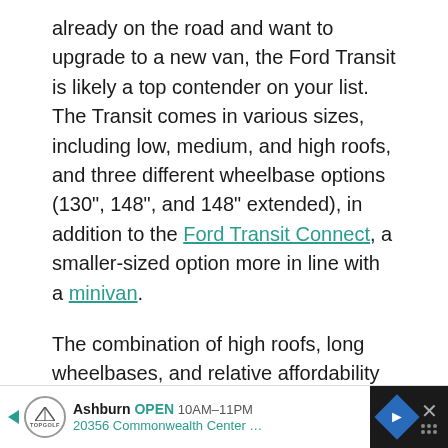already on the road and want to upgrade to a new van, the Ford Transit is likely a top contender on your list. The Transit comes in various sizes, including low, medium, and high roofs, and three different wheelbase options (130", 148", and 148" extended), in addition to the Ford Transit Connect, a smaller-sized option more in line with a minivan.
The combination of high roofs, long wheelbases, and relative affordability (at least, when compared to Mercedes Sprinters) make the Ford Transit the perfect base for a DIY camper van conversion. And if you opt for the available All Wheel Drive on new van models you can take your Ford Transit camper van just about anywhere.
[Figure (other): Advertisement banner at the bottom of the page for Topgolf in Ashburn. Shows the Topgolf logo, location as Ashburn, status as OPEN, hours 10AM-11PM, address 20356 Commonwealth Center..., a blue navigation diamond icon, and a close button.]